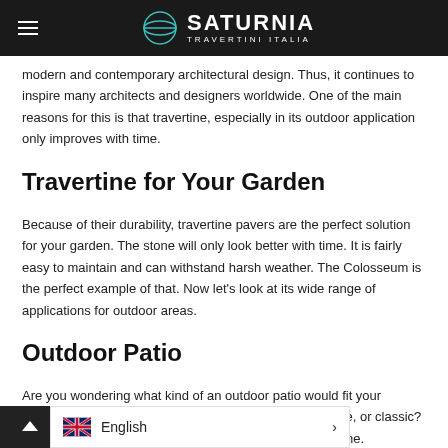Saturnia Travertini Italia
modern and contemporary architectural design. Thus, it continues to inspire many architects and designers worldwide. One of the main reasons for this is that travertine, especially in its outdoor application only improves with time.
Travertine for Your Garden
Because of their durability, travertine pavers are the perfect solution for your garden. The stone will only look better with time. It is fairly easy to maintain and can withstand harsh weather. The Colosseum is the perfect example of that. Now let's look at its wide range of applications for outdoor areas.
Outdoor Patio
Are you wondering what kind of an outdoor patio would fit your exterior design regardless if it is contemporary, innovative, or classic? Is there such material that would... exists. It's called travertine.